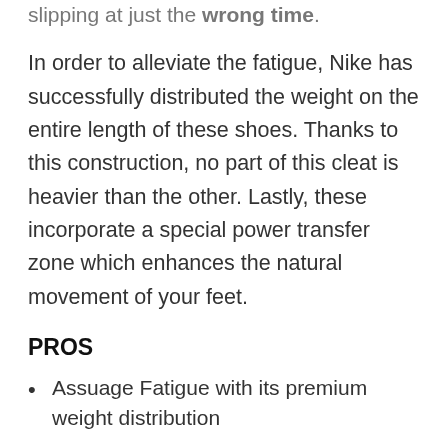slipping at just the wrong time.
In order to alleviate the fatigue, Nike has successfully distributed the weight on the entire length of these shoes. Thanks to this construction, no part of this cleat is heavier than the other. Lastly, these incorporate a special power transfer zone which enhances the natural movement of your feet.
PROS
Assuage Fatigue with its premium weight distribution
One of the stylish golf shoes available in today’s market
›Waterproof Construction allows its user to play in soggy environments